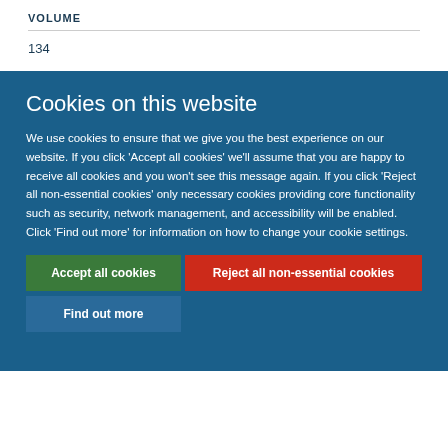VOLUME
134
Cookies on this website
We use cookies to ensure that we give you the best experience on our website. If you click 'Accept all cookies' we'll assume that you are happy to receive all cookies and you won't see this message again. If you click 'Reject all non-essential cookies' only necessary cookies providing core functionality such as security, network management, and accessibility will be enabled. Click 'Find out more' for information on how to change your cookie settings.
Accept all cookies
Reject all non-essential cookies
Find out more